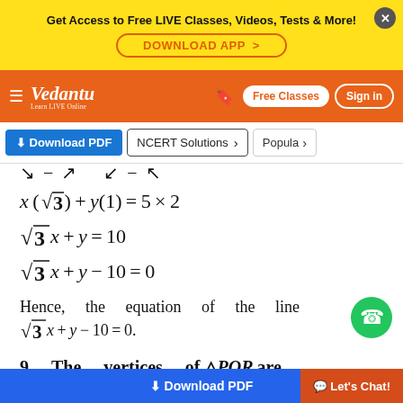Get Access to Free LIVE Classes, Videos, Tests & More! DOWNLOAD APP
Vedantu | Free Classes | Sign in
Download PDF | NCERT Solutions | Popular
Hence, the equation of the line is \sqrt{3}x + y - 10 = 0.
9.    The    vertices    of △PQR are